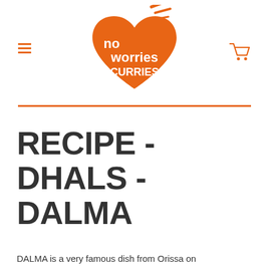[Figure (logo): No Worries Curries logo — orange heart-shaped swoosh with white text 'no worries CURRIES' and a speed-line graphic element, with a small TM mark]
RECIPE - DHALS - DALMA
DALMA is a very famous dish from Orissa on